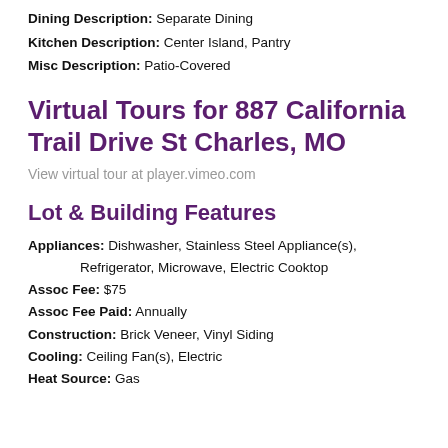Dining Description: Separate Dining
Kitchen Description: Center Island, Pantry
Misc Description: Patio-Covered
Virtual Tours for 887 California Trail Drive St Charles, MO
View virtual tour at player.vimeo.com
Lot & Building Features
Appliances: Dishwasher, Stainless Steel Appliance(s), Refrigerator, Microwave, Electric Cooktop
Assoc Fee: $75
Assoc Fee Paid: Annually
Construction: Brick Veneer, Vinyl Siding
Cooling: Ceiling Fan(s), Electric
Heat Source: Gas